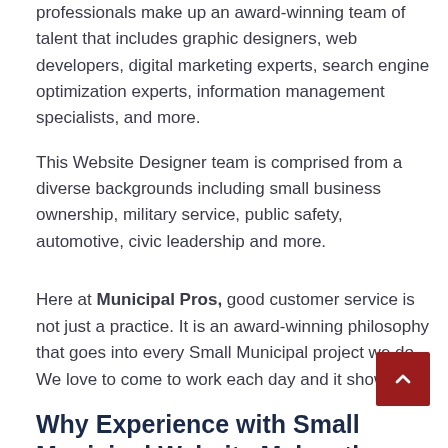professionals make up an award-winning team of talent that includes graphic designers, web developers, digital marketing experts, search engine optimization experts, information management specialists, and more.
This Website Designer team is comprised from a diverse backgrounds including small business ownership, military service, public safety, automotive, civic leadership and more.
Here at Municipal Pros, good customer service is not just a practice. It is an award-winning philosophy that goes into every Small Municipal project we do. We love to come to work each day and it shows!
Why Experience with Small Municipal Website Makes the Difference!